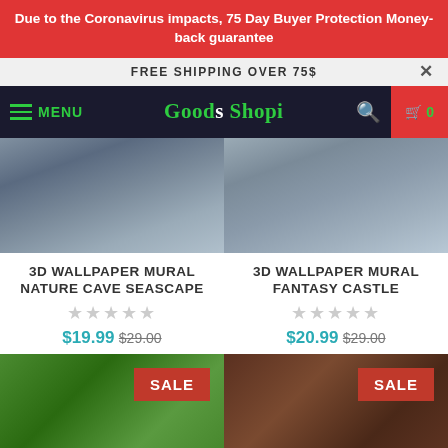Due to the Coronavirus impacts, 75 Day Buyer Protection Money-back guarantee
FREE SHIPPING OVER 75$
MENU | Goods Shopi | search | cart 0
[Figure (photo): Blurred product photo of 3D Wallpaper Mural Nature Cave Seascape]
3D WALLPAPER MURAL NATURE CAVE SEASCAPE
★★★★★ (empty stars)
$19.99 $29.00
[Figure (photo): Blurred product photo of 3D Wallpaper Mural Fantasy Castle]
3D WALLPAPER MURAL FANTASY CASTLE
★★★★★ (empty stars)
$20.99 $29.00
[Figure (photo): Green wallpaper product thumbnail with SALE badge]
[Figure (photo): Brown room wallpaper product thumbnail with SALE badge]